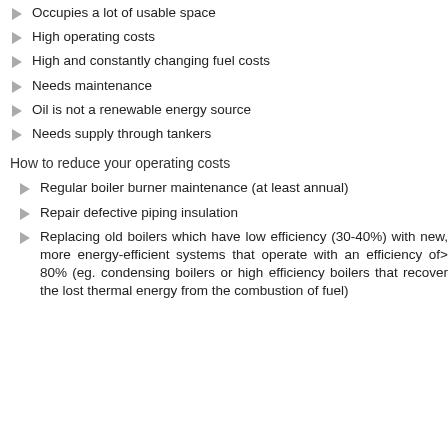Occupies a lot of usable space
High operating costs
High and constantly changing fuel costs
Needs maintenance
Oil is not a renewable energy source
Needs supply through tankers
How to reduce your operating costs
Regular boiler burner maintenance (at least annual)
Repair defective piping insulation
Replacing old boilers which have low efficiency (30-40%) with new, more energy-efficient systems that operate with an efficiency of> 80% (eg. condensing boilers or high efficiency boilers that recover the lost thermal energy from the combustion of fuel)